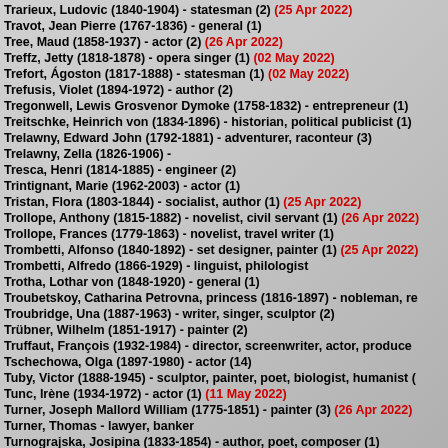Trarieux, Ludovic (1840-1904) - statesman (2) (25 Apr 2022)
Travot, Jean Pierre (1767-1836) - general (1)
Tree, Maud (1858-1937) - actor (2) (26 Apr 2022)
Treffz, Jetty (1818-1878) - opera singer (1) (02 May 2022)
Trefort, Ágoston (1817-1888) - statesman (1) (02 May 2022)
Trefusis, Violet (1894-1972) - author (2)
Tregonwell, Lewis Grosvenor Dymoke (1758-1832) - entrepreneur (1)
Treitschke, Heinrich von (1834-1896) - historian, political publicist (1)
Trelawny, Edward John (1792-1881) - adventurer, raconteur (3)
Trelawny, Zella (1826-1906) -
Tresca, Henri (1814-1885) - engineer (2)
Trintignant, Marie (1962-2003) - actor (1)
Tristan, Flora (1803-1844) - socialist, author (1) (25 Apr 2022)
Trollope, Anthony (1815-1882) - novelist, civil servant (1) (26 Apr 2022)
Trollope, Frances (1779-1863) - novelist, travel writer (1)
Trombetti, Alfonso (1840-1892) - set designer, painter (1) (25 Apr 2022)
Trombetti, Alfredo (1866-1929) - linguist, philologist
Trotha, Lothar von (1848-1920) - general (1)
Troubetskoy, Catharina Petrovna, princess (1816-1897) - nobleman, re...
Troubridge, Una (1887-1963) - writer, singer, sculptor (2)
Trübner, Wilhelm (1851-1917) - painter (2)
Truffaut, François (1932-1984) - director, screenwriter, actor, producer...
Tschechowa, Olga (1897-1980) - actor (14)
Tuby, Victor (1888-1945) - sculptor, painter, poet, biologist, humanist...
Tunc, Irène (1934-1972) - actor (1) (11 May 2022)
Turner, Joseph Mallord William (1775-1851) - painter (3) (26 Apr 2022)
Turner, Thomas - lawyer, banker
Turnograjska, Josipina (1833-1854) - author, poet, composer (1)
Tweed, William 'Boss' (1823-1878) - criminal (1)